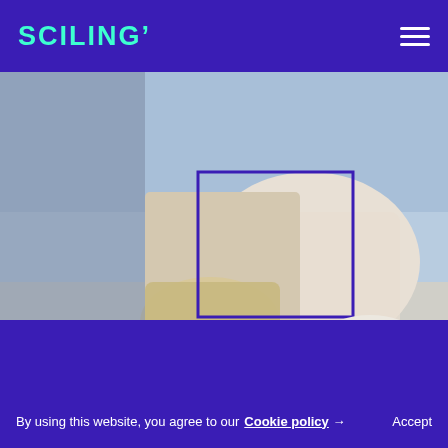SCILING'
[Figure (photo): Fashion photo of a woman in a floral dress holding a woven bag, seated outdoors near water. A purple bounding box overlay is shown on the bag area.]
Micolet scales its business and reduces its costs thanks to Sciling
[Figure (photo): Blue-toned image of people with digital overlay graphics and bounding boxes, suggesting computer vision or AI detection.]
By using this website, you agree to our Cookie policy → Accept